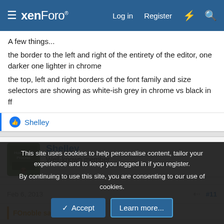xenForo — Log in  Register
A few things...
the border to the left and right of the entirety of the editor, one darker one lighter in chrome
the top, left and right borders of the font family and size selectors are showing as white-ish grey in chrome vs black in ff
Shelley
Shelley
Well-known member
Feb 6, 2013  #11
FOnoble said:
This site uses cookies to help personalise content, tailor your experience and to keep you logged in if you register.
By continuing to use this site, you are consenting to our use of cookies.
Accept  Learn more...